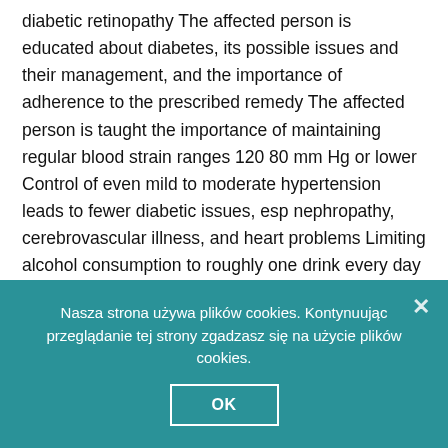diabetic retinopathy The affected person is educated about diabetes, its possible issues and their management, and the importance of adherence to the prescribed remedy The affected person is taught the importance of maintaining regular blood strain ranges 120 80 mm Hg or lower Control of even mild to moderate hypertension leads to fewer diabetic issues, esp nephropathy, cerebrovascular illness, and heart problems Limiting alcohol consumption to roughly one drink every day and avoiding tobacco are also important for self management Emotional assist and a realistic evaluation of
Nasza strona używa plików cookies. Kontynuując przeglądanie tej strony zgadzasz się na użycie plików cookies.